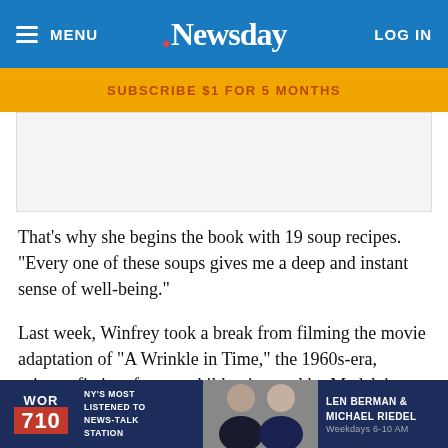MENU | Newsday | LOG IN
SUBSCRIBE $1 FOR 5 MONTHS
[Figure (other): Advertisement placeholder banner]
That’s why she begins the book with 19 soup recipes. “Every one of these soups gives me a deep and instant sense of well-being.”
Last week, Winfrey took a break from filming the movie adaptation of “A Wrinkle in Time,” the 1960s-era, science-fiction, fantasy children’s novel by Madeleine L’Engle, to talk with Newsday about writing the cookbook, her public battle with weight gain, why the standard is not the same for ov… acio e nero…
[Figure (screenshot): WOR 710 NY's Most Listened to News-Talk Station ad banner with Len Berman & Michael Riedel Weekdays 6-10 AM]